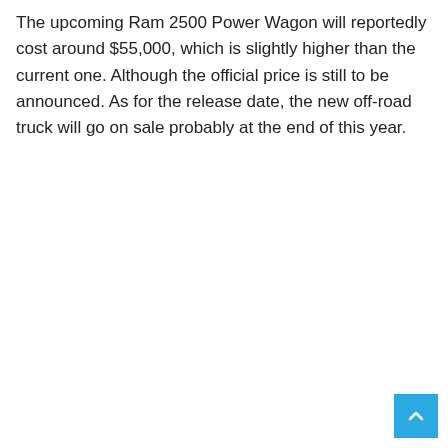The upcoming Ram 2500 Power Wagon will reportedly cost around $55,000, which is slightly higher than the current one. Although the official price is still to be announced. As for the release date, the new off-road truck will go on sale probably at the end of this year.